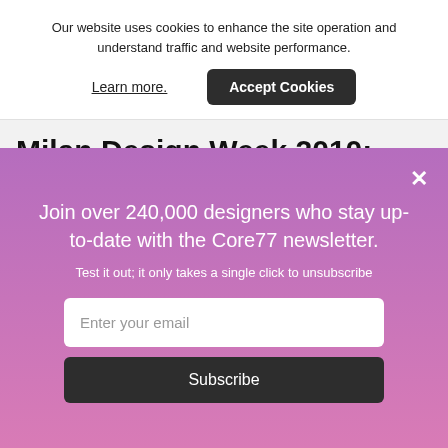Our website uses cookies to enhance the site operation and understand traffic and website performance.
Learn more.
Accept Cookies
Milan Design Week 2010: Nendo's
×
Join over 240,000 designers who stay up-to-date with the Core77 newsletter.
Test it out; it only takes a single click to unsubscribe
Enter your email
Subscribe